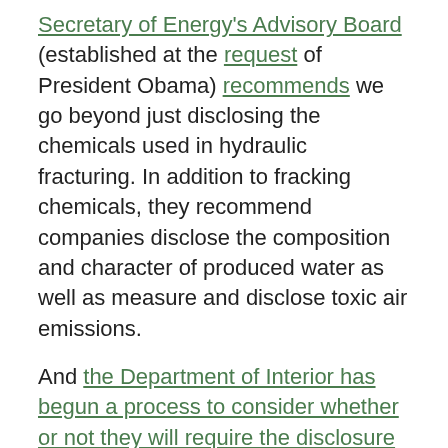Secretary of Energy's Advisory Board (established at the request of President Obama) recommends we go beyond just disclosing the chemicals used in hydraulic fracturing. In addition to fracking chemicals, they recommend companies disclose the composition and character of produced water as well as measure and disclose toxic air emissions.
And the Department of Interior has begun a process to consider whether or not they will require the disclosure of fracking chemicals, or other toxic emissions, on oil and gas operations on public lands (even though the EPA isn't allowed to require disclosure through